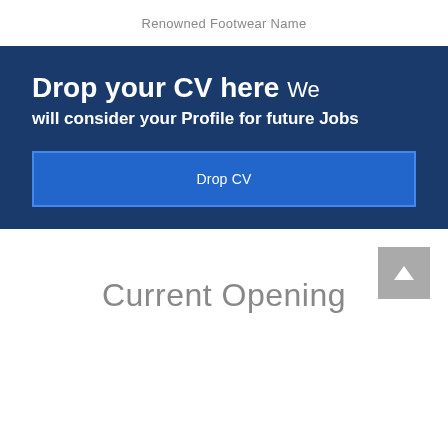Renowned Footwear Name
Drop your CV here We will consider your Profile for future Jobs
Drop CV
Current Opening